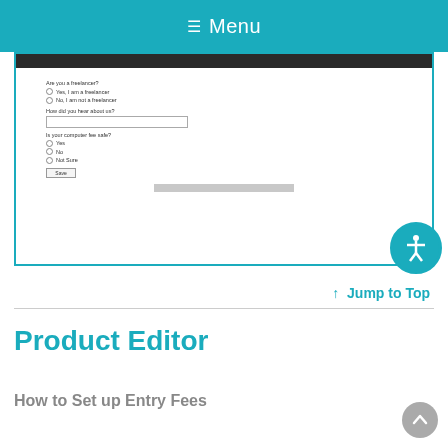≡ Menu
[Figure (screenshot): Screenshot of a web form with radio buttons asking 'Are you a freelancer?' with options 'Yes, I am a freelancer' and 'No, I am not a freelancer', a text input 'How did you hear about us?', 'Is your computer fee safe?' with radio options Yes, No, Not Sure, a Save button, and a gray footer bar.]
↑ Jump to Top
Product Editor
How to Set up Entry Fees